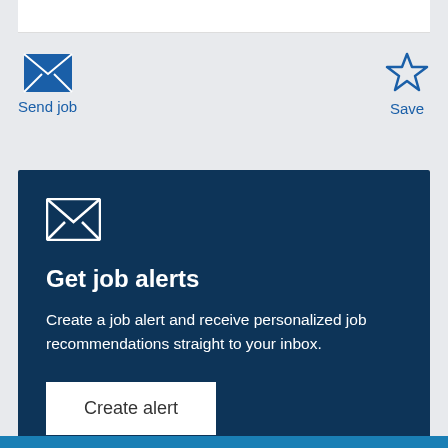[Figure (screenshot): Send job icon (envelope) and Save icon (star) action buttons in blue]
Send job
Save
[Figure (infographic): Dark blue card with envelope icon, heading Get job alerts, body text, and Create alert button]
Get job alerts
Create a job alert and receive personalized job recommendations straight to your inbox.
Create alert